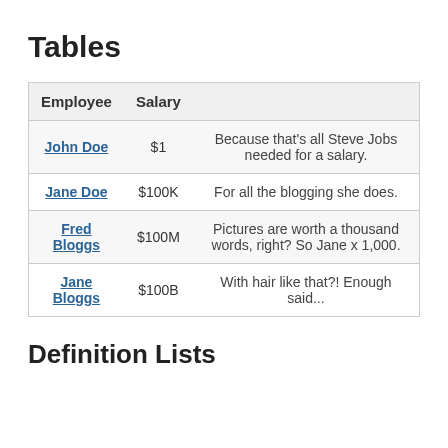Tables
| Employee | Salary |  |
| --- | --- | --- |
| John Doe | $1 | Because that's all Steve Jobs needed for a salary. |
| Jane Doe | $100K | For all the blogging she does. |
| Fred Bloggs | $100M | Pictures are worth a thousand words, right? So Jane x 1,000. |
| Jane Bloggs | $100B | With hair like that?! Enough said... |
Definition Lists